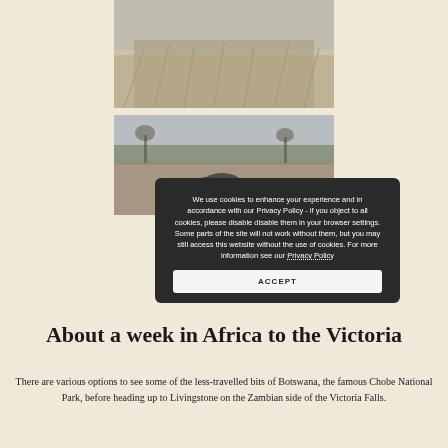[Figure (photo): Blurry safari landscape with dry grass and bushes in muted grey-brown tones]
[Figure (photo): Wildlife scene showing animals (possibly buffalo) in a dry African savanna landscape with trees in background]
We use cookies to enhance your experience and in accordance with our Privacy Policy - if you object to all cookies, please disable disable them in your browser settings. Some parts of the site will not work without them, but you may still access this website without the use of cookies. For more information see our Privacy Policy
ACCEPT
About a week in Africa to the Victoria
There are various options to see some of the less-travelled bits of Botswana, the famous Chobe National Park, before heading up to Livingstone on the Zambian side of the Victoria Falls.